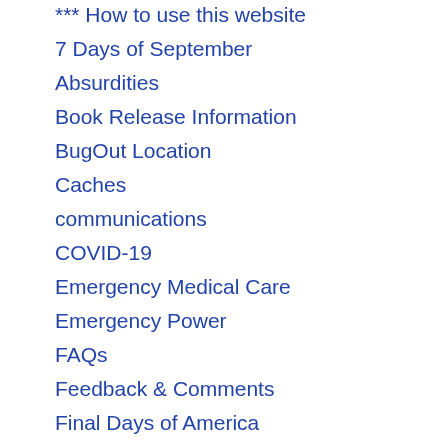*** How to use this website
7 Days of September
Absurdities
Book Release Information
BugOut Location
Caches
communications
COVID-19
Emergency Medical Care
Emergency Power
FAQs
Feedback & Comments
Final Days of America
Food
Gardening
gear
Gear & Equipment
Guns & Accessories